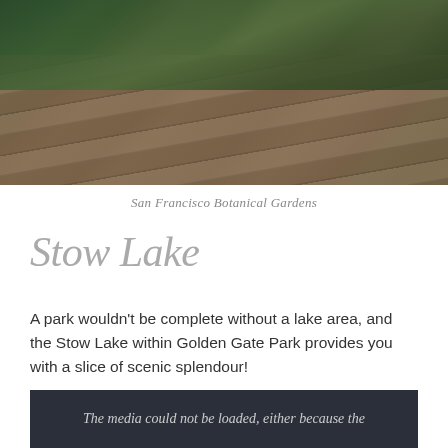[Figure (photo): Wooden boardwalk/deck with lush green ferns and plants at San Francisco Botanical Gardens, viewed from above at an angle]
San Francisco Botanical Gardens
Stow Lake
A park wouldn't be complete without a lake area, and the Stow Lake within Golden Gate Park provides you with a slice of scenic splendour!
The media could not be loaded, either because the